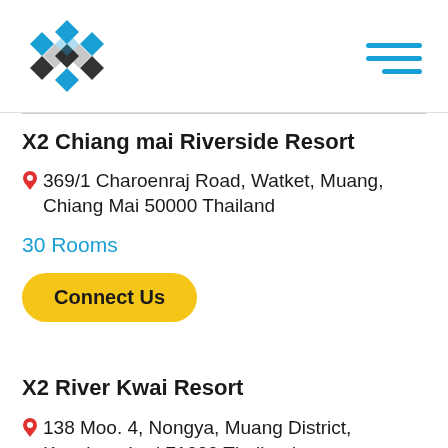[Figure (logo): X2 brand logo - geometric diamond/cube pattern in blue and dark grey]
X2 Chiang mai Riverside Resort
369/1 Charoenraj Road, Watket, Muang, Chiang Mai 50000 Thailand
30 Rooms
Connect Us
X2 River Kwai Resort
138 Moo. 4, Nongya, Muang District, Kanchanaburi 71000 Thailand